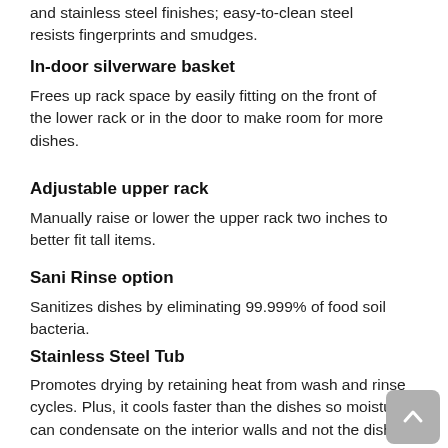and stainless steel finishes; easy-to-clean steel resists fingerprints and smudges.
In-door silverware basket
Frees up rack space by easily fitting on the front of the lower rack or in the door to make room for more dishes.
Adjustable upper rack
Manually raise or lower the upper rack two inches to better fit tall items.
Sani Rinse option
Sanitizes dishes by eliminating 99.999% of food soil bacteria.
Stainless Steel Tub
Promotes drying by retaining heat from wash and rinse cycles. Plus, it cools faster than the dishes so moisture can condensate on the interior walls and not the dishes.
Normal cycle
Use for normal amounts of food soil to clean up leftover messes from your day-to-day meals.